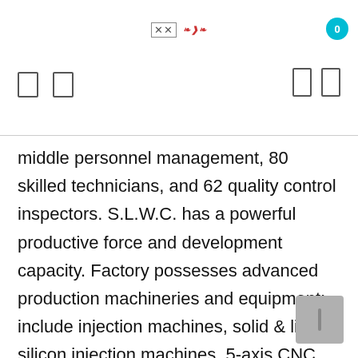XX [logo]
middle personnel management, 80 skilled technicians, and 62 quality control inspectors. S.L.W.C. has a powerful productive force and development capacity. Factory possesses advanced production machineries and equipment; include injection machines, solid & liquid silicon injection machines, 5-axis CNC machines, automatic milling machines, water test machines, NC lathes, and wire-cut